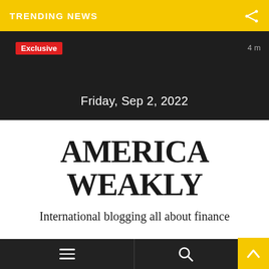TRENDING NEWS
Exclusive
4 m
Friday, Sep 2, 2022
AMERICA WEAKLY
International blogging all about finance